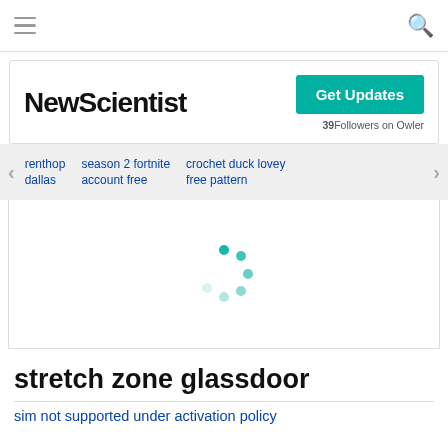☰ [menu] [search]
[Figure (logo): NewScientist logo with Get Updates button and 39 Followers on Owler]
renthop dallas | season 2 fortnite account free | crochet duck lovey free pattern
[Figure (other): Loading spinner (teal dots in circular arrangement)]
stretch zone glassdoor
sim not supported under activation policy